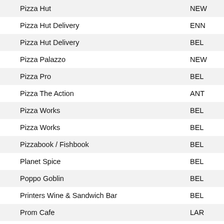| Name | Location |
| --- | --- |
| Pizza Hut | NEW |
| Pizza Hut Delivery | ENN |
| Pizza Hut Delivery | BEL |
| Pizza Palazzo | NEW |
| Pizza Pro | BEL |
| Pizza The Action | ANT |
| Pizza Works | BEL |
| Pizza Works | BEL |
| Pizzabook / Fishbook | BEL |
| Planet Spice | BEL |
| Poppo Goblin | BEL |
| Printers Wine & Sandwich Bar | BEL |
| Prom Cafe | LAR |
| Pyke N Pommes | DER |
| R City Coffee | BEL |
| Raffos Fish & Chips | BEL |
| Ramseys Cafe | LON |
| Ramzys | BEL |